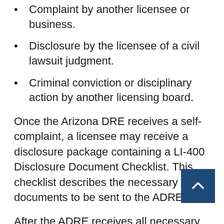Complaint by another licensee or business.
Disclosure by the licensee of a civil lawsuit judgment.
Criminal conviction or disciplinary action by another licensing board.
Once the Arizona DRE receives a self-complaint, a licensee may receive a disclosure package containing a LI-400 Disclosure Document Checklist. This checklist describes the necessary documents to be sent to the ADRE.
After the ADRE receives all necessary documents and statements from the licensee, the Enforcement and Compliance Division may resolve substantiated allegations through a stipulated settlement (Consent Agreement or Accelerated Settlement Agreement), or may refer the